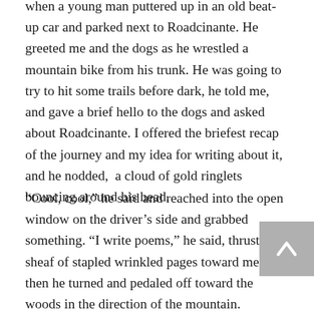when a young man puttered up in an old beat-up car and parked next to Roadcinante. He greeted me and the dogs as he wrestled a mountain bike from his trunk. He was going to try to hit some trails before dark, he told me, and gave a brief hello to the dogs and asked about Roadcinante. I offered the briefest recap of the journey and my idea for writing about it, and he nodded,  a cloud of gold ringlets bouncing around his head.
“Cool, cool,” he said and reached into the open window on the driver’s side and grabbed something. “I write poems,” he said, thrusting a sheaf of stapled wrinkled pages toward me, and then he turned and pedaled off toward the woods in the direction of the mountain.